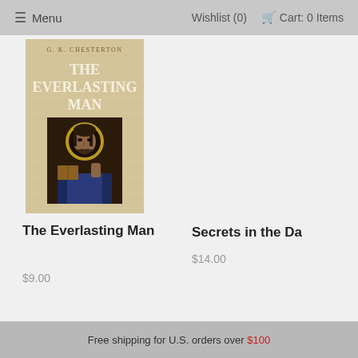☰ Menu   Wishlist (0)  🛒 Cart: 0 Items
[Figure (illustration): Book cover of 'The Everlasting Man' by G.K. Chesterton, showing a Byzantine-style icon of Christ on a tan/beige textured background with white serif title text.]
The Everlasting Man
$9.00
Secrets in the Da
$14.00
Free shipping for U.S. orders over $100